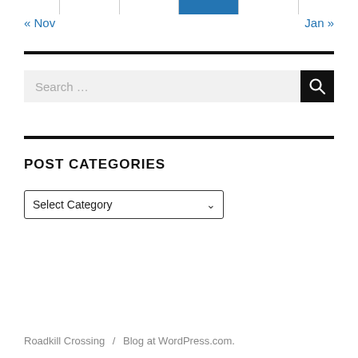[Figure (other): Calendar navigation row with highlighted cell]
« Nov    Jan »
Search …
POST CATEGORIES
Select Category
Roadkill Crossing / Blog at WordPress.com.